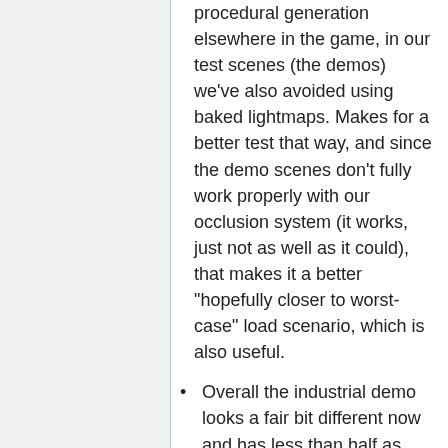procedural generation elsewhere in the game, in our test scenes (the demos) we've also avoided using baked lightmaps. Makes for a better test that way, and since the demo scenes don't fully work properly with our occlusion system (it works, just not as well as it could), that makes it a better "hopefully closer to worst-case" load scenario, which is also useful.
Overall the industrial demo looks a fair bit different now and has less than half as many lights, but the lights that are there are more dramatically used. The overall effect is a more varied progression of a level. The total gain from all the many related